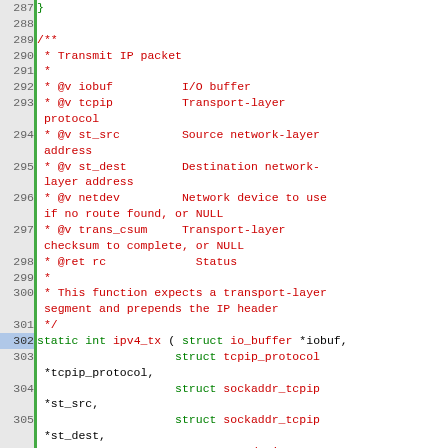Source code listing lines 287-309, C programming language, showing ipv4_tx function with doxygen comments